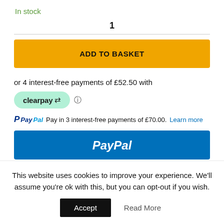In stock
1
ADD TO BASKET
or 4 interest-free payments of £52.50 with
[Figure (logo): Clearpay logo badge with green background and info icon]
Pay in 3 interest-free payments of £70.00. Learn more
[Figure (logo): PayPal blue checkout button]
This website uses cookies to improve your experience. We'll assume you're ok with this, but you can opt-out if you wish.